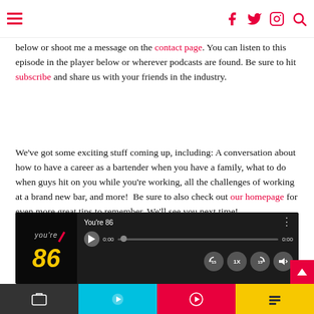Navigation header with hamburger menu and social icons (Facebook, Twitter, Instagram, Search)
below or shoot me a message on the contact page. You can listen to this episode in the player below or wherever podcasts are found. Be sure to hit subscribe and share us with your friends in the industry.
We've got some exciting stuff coming up, including: A conversation about how to have a career as a bartender when you have a family, what to do when guys hit on you while you're working, all the challenges of working at a brand new bar, and more!  Be sure to also check out our homepage for even more great tips to remember. We'll see you next time!
[Figure (screenshot): Podcast player widget with black background, 'You're 86' logo on left, title 'You're 86', time 0:00, play button, progress bar, and playback controls (rewind 15, 1x speed, forward 15, volume)]